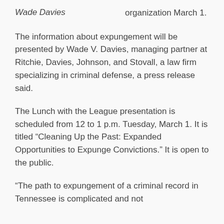Wade Davies
organization March 1.
The information about expungement will be presented by Wade V. Davies, managing partner at Ritchie, Davies, Johnson, and Stovall, a law firm specializing in criminal defense, a press release said.
The Lunch with the League presentation is scheduled from 12 to 1 p.m. Tuesday, March 1. It is titled “Cleaning Up the Past: Expanded Opportunities to Expunge Convictions.” It is open to the public.
“The path to expungement of a criminal record in Tennessee is complicated and not